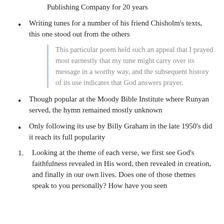Publishing Company for 20 years
Writing tunes for a number of his friend Chisholm's texts, this one stood out from the others
This particular poem held such an appeal that I prayed most earnestly that my tune might carry over its message in a worthy way, and the subsequent history of its use indicates that God answers prayer.
Though popular at the Moody Bible Institute where Runyan served, the hymn remained mostly unknown
Only following its use by Billy Graham in the late 1950's did it reach its full popularity
Looking at the theme of each verse, we first see God's faithfulness revealed in His word, then revealed in creation, and finally in our own lives. Does one of those themes speak to you personally? How have you seen